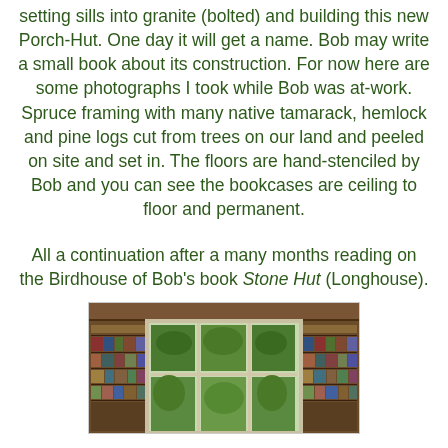setting sills into granite (bolted) and building this new Porch-Hut. One day it will get a name. Bob may write a small book about its construction. For now here are some photographs I took while Bob was at-work. Spruce framing with many native tamarack, hemlock and pine logs cut from trees on our land and peeled on site and set in. The floors are hand-stenciled by Bob and you can see the bookcases are ceiling to floor and permanent.
All a continuation after a many months reading on the Birdhouse of Bob's book Stone Hut (Longhouse).
[Figure (photo): Interior photo showing large multi-pane window with green foliage visible outside, flanked by floor-to-ceiling bookcases filled with books, wood beam above window.]